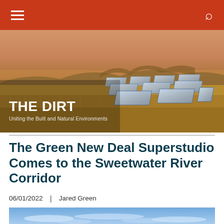THE DIRT — Navigation bar with hamburger menu and search icon
[Figure (photo): Aerial view of solar panels in a golden grassland at sunset with mountains in the background. White text overlay reads 'THE DIRT' and subtitle 'Uniting the Built and Natural Environments']
The Green New Deal Superstudio Comes to the Sweetwater River Corridor
06/01/2022  |  Jared Green
[Figure (photo): Partially visible photo showing blue sky with light clouds at bottom of page]